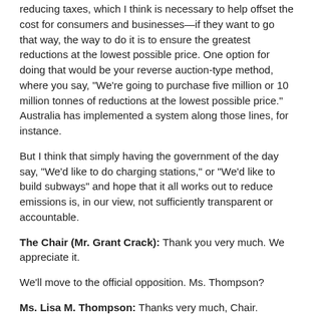reducing taxes, which I think is necessary to help offset the cost for consumers and businesses—if they want to go that way, the way to do it is to ensure the greatest reductions at the lowest possible price. One option for doing that would be your reverse auction-type method, where you say, "We're going to purchase five million or 10 million tonnes of reductions at the lowest possible price." Australia has implemented a system along those lines, for instance.
But I think that simply having the government of the day say, "We'd like to do charging stations," or "We'd like to build subways" and hope that it all works out to reduce emissions is, in our view, not sufficiently transparent or accountable.
The Chair (Mr. Grant Crack): Thank you very much. We appreciate it.
We'll move to the official opposition. Ms. Thompson?
Ms. Lisa M. Thompson: Thanks very much, Chair.